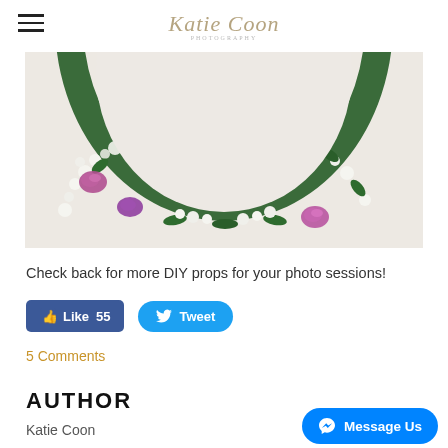Katie Coon
[Figure (photo): A flower crown wreath made with pink roses, green leaves, and white baby's breath, photographed on a white surface. Only the bottom half of the circular crown is visible.]
Check back for more DIY props for your photo sessions!
[Figure (other): Facebook Like button showing 55 likes and Twitter Tweet button]
5 Comments
AUTHOR
Katie Coon